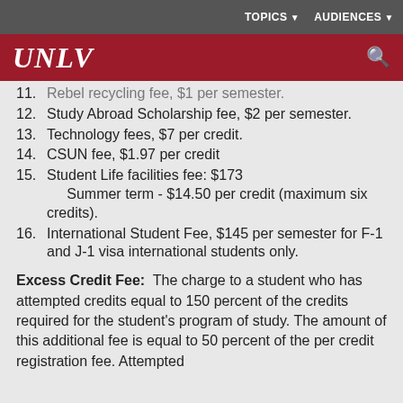TOPICS   AUDIENCES
[Figure (logo): UNLV logo on red header bar with search icon]
11. Rebel recycling fee, $1 per semester.
12. Study Abroad Scholarship fee, $2 per semester.
13. Technology fees, $7 per credit.
14. CSUN fee, $1.97 per credit
15. Student Life facilities fee: $173 Summer term - $14.50 per credit (maximum six credits).
16. International Student Fee, $145 per semester for F-1 and J-1 visa international students only.
Excess Credit Fee: The charge to a student who has attempted credits equal to 150 percent of the credits required for the student's program of study. The amount of this additional fee is equal to 50 percent of the per credit registration fee. Attempted